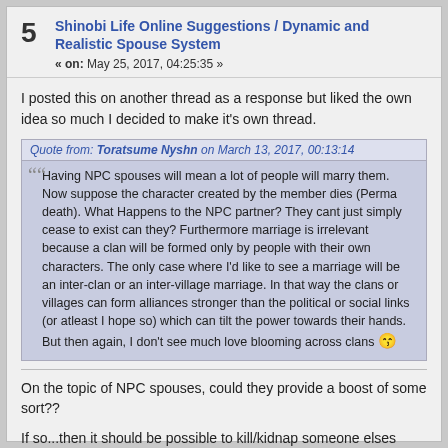5 Shinobi Life Online Suggestions / Dynamic and Realistic Spouse System
« on: May 25, 2017, 04:25:35 »
I posted this on another thread as a response but liked the own idea so much I decided to make it's own thread.
Quote from: Toratsume Nyshn on March 13, 2017, 00:13:14
Having NPC spouses will mean a lot of people will marry them. Now suppose the character created by the member dies (Perma death). What Happens to the NPC partner? They cant just simply cease to exist can they? Furthermore marriage is irrelevant because a clan will be formed only by people with their own characters. The only case where I'd like to see a marriage will be an inter-clan or an inter-village marriage. In that way the clans or villages can form alliances stronger than the political or social links (or atleast I hope so) which can tilt the power towards their hands.
But then again, I don't see much love blooming across clans 😙
On the topic of NPC spouses, could they provide a boost of some sort??
If so...then it should be possible to kill/kidnap someone elses spouse, either removing or stealing someones buff.